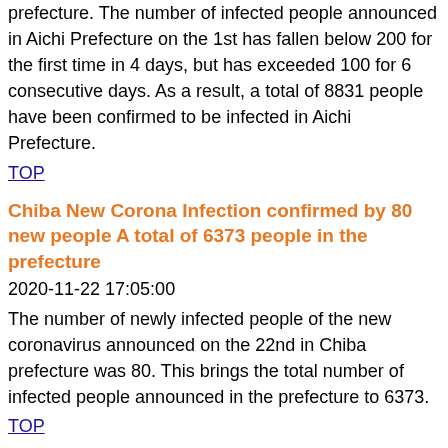prefecture. The number of infected people announced in Aichi Prefecture on the 1st has fallen below 200 for the first time in 4 days, but has exceeded 100 for 6 consecutive days. As a result, a total of 8831 people have been confirmed to be infected in Aichi Prefecture.
TOP
Chiba New Corona Infection confirmed by 80 new people A total of 6373 people in the prefecture
2020-11-22 17:05:00
The number of newly infected people of the new coronavirus announced on the 22nd in Chiba prefecture was 80. This brings the total number of infected people announced in the prefecture to 6373.
TOP
Kagoshima New Corona Newly confirmed 2 infections A total of 597 people in the prefecture